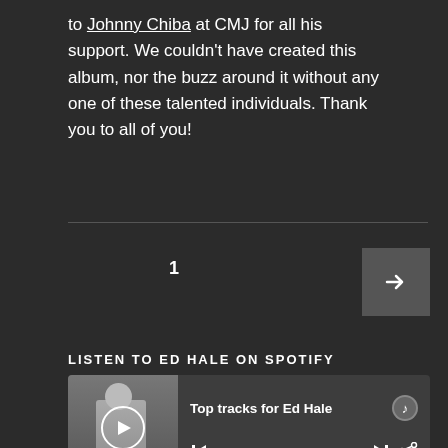to Johnny Chiba at CMJ for all his support. We couldn't have created this album, nor the buzz around it without any one of these talented individuals. Thank you to all of you!
1
LISTEN TO ED HALE ON SPOTIFY
[Figure (screenshot): Spotify embedded music player widget showing 'Top tracks for Ed Hale' with Spotify logo, play controls, and a tracklist including '1 Scene in San Francisco 3:54' and '2 Heal World 3:39']